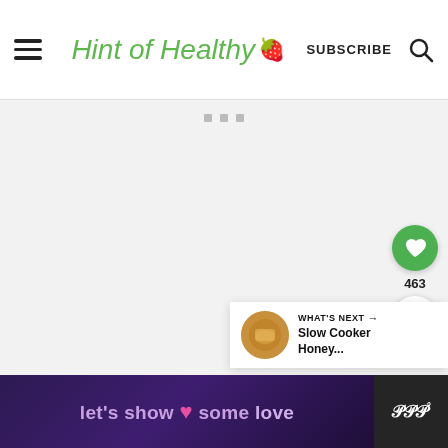Hint of Healthy 🍓 | SUBSCRIBE | Search
[Figure (screenshot): Light gray blank content area with three small gray squares/dots near the top center indicating loading or placeholder content]
[Figure (infographic): Green circular button with white heart icon (save/like button), count of 463, and white circular share button below]
[Figure (infographic): WHAT'S NEXT panel with thumbnail of food dish and text 'Slow Cooker Honey...']
[Figure (screenshot): Ad banner with dark purple background reading "let's show it some love" with pink heart, and Whisk logo on right]